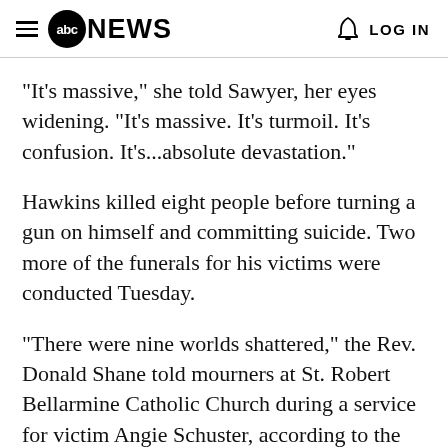abc NEWS   LOG IN
"It's massive," she told Sawyer, her eyes widening. "It's massive. It's turmoil. It's confusion. It's...absolute devastation."
Hawkins killed eight people before turning a gun on himself and committing suicide. Two more of the funerals for his victims were conducted Tuesday.
"There were nine worlds shattered," the Rev. Donald Shane told mourners at St. Robert Bellarmine Catholic Church during a service for victim Angie Schuster, according to the Associated Press. "The worlds of Beverly